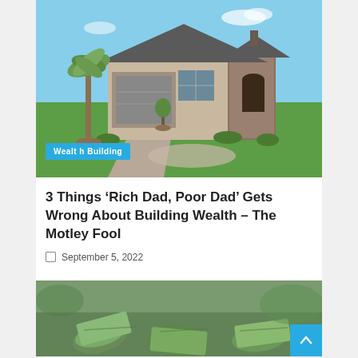[Figure (photo): Photo of a suburban house with a palm tree, green lawn, and blue sky. A 'Wealth Building' category badge overlay in the bottom-left corner.]
3 Things ‘Rich Dad, Poor Dad’ Gets Wrong About Building Wealth – The Motley Fool
September 5, 2022
[Figure (photo): Close-up photo of rolled US dollar bills, partially visible at bottom of page.]